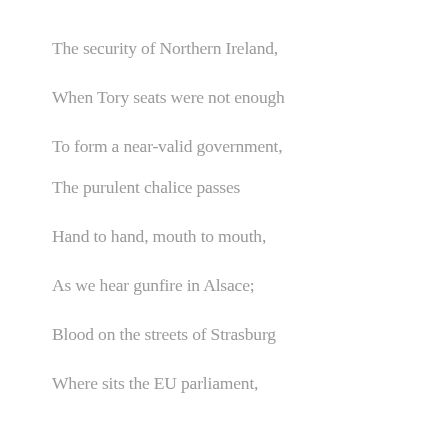The security of Northern Ireland,
When Tory seats were not enough
To form a near-valid government,
The purulent chalice passes
Hand to hand, mouth to mouth,
As we hear gunfire in Alsace;
Blood on the streets of Strasburg
Where sits the EU parliament,